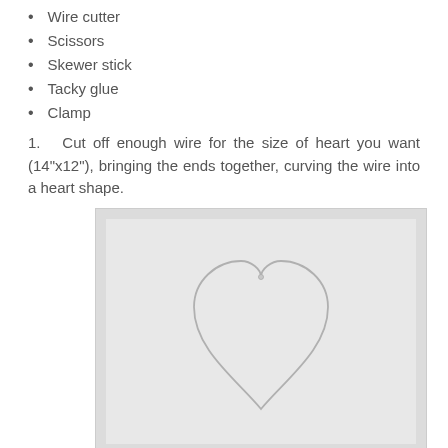Wire cutter
Scissors
Skewer stick
Tacky glue
Clamp
1.   Cut off enough wire for the size of heart you want (14"x12"), bringing the ends together, curving the wire into a heart shape.
[Figure (photo): A wire bent into a heart shape lying on a light gray/white background. The wire forms a clear heart outline with the two ends meeting at the top center.]